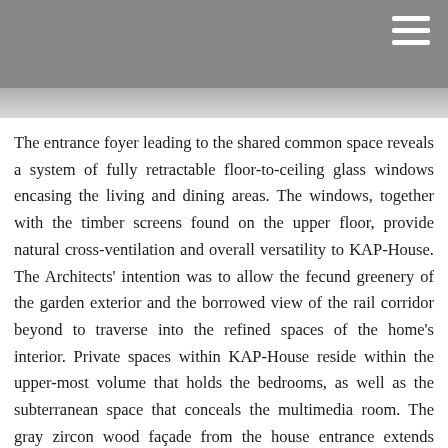[Figure (photo): Top portion of a photo showing what appears to be an architectural interior or exterior space, with dark and light tones, partially visible. A hamburger menu icon appears in the top-right corner over a gray background.]
The entrance foyer leading to the shared common space reveals a system of fully retractable floor-to-ceiling glass windows encasing the living and dining areas. The windows, together with the timber screens found on the upper floor, provide natural cross-ventilation and overall versatility to KAP-House. The Architects' intention was to allow the fecund greenery of the garden exterior and the borrowed view of the rail corridor beyond to traverse into the refined spaces of the home's interior. Private spaces within KAP-House reside within the upper-most volume that holds the bedrooms, as well as the subterranean space that conceals the multimedia room. The gray zircon wood façade from the house entrance extends along the length of the home, forming a system of timber